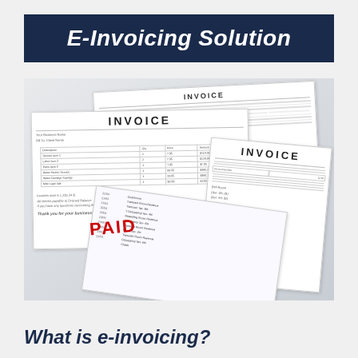E-Invoicing Solution
[Figure (photo): A collection of paper invoices spread out, one showing the word PAID stamped in red, various invoice documents overlapping each other]
What is e-invoicing?